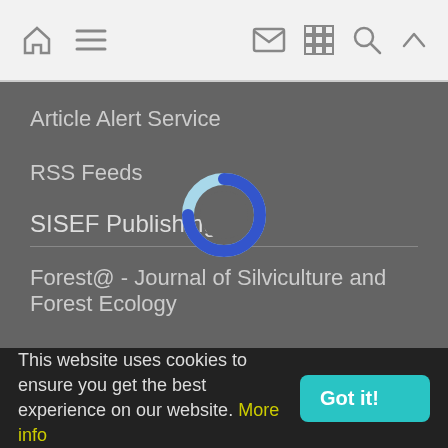[Figure (screenshot): Top navigation bar with home icon, hamburger menu icon on the left, and email, grid, search, and up-arrow icons on the right]
Article Alert Service
RSS Feeds
SISEF Publishing
Forest@ - Journal of Silviculture and Forest Ecology
[Figure (other): Loading spinner / donut progress indicator overlay in blue and light blue]
SISEF Newsletter
SISEF Editorials
SISEF Workgroup Activities
SISEF Congress
SISEF on Faceb... (truncated)
This website uses cookies to ensure you get the best experience on our website. More info
Got it!